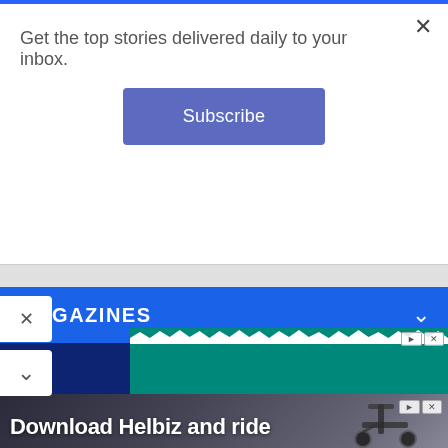Get the top stories delivered daily to your inbox.
Subscribe
MAGAZINES
OUR COMPANY
NEWSLETTER SUBSCRIPTION
TERMS & CONDITIONS
[Figure (screenshot): Teal advertisement banner with wavy top edge and ad controls (play/close buttons)]
[Figure (photo): Advertisement photo showing electric scooter handlebars with text 'Download Helbiz and ride']